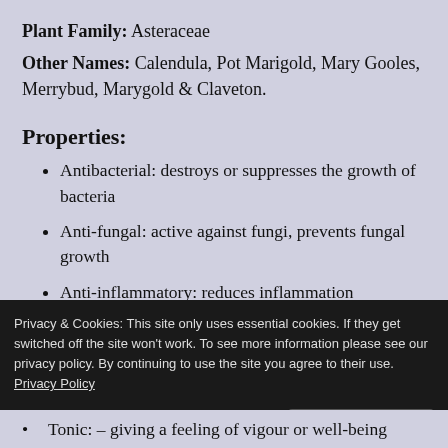Plant Family: Asteraceae
Other Names: Calendula, Pot Marigold, Mary Gooles, Merrybud, Marygold & Claveton.
Properties:
Antibacterial: destroys or suppresses the growth of bacteria
Anti-fungal: active against fungi, prevents fungal growth
Anti-inflammatory: reduces inflammation
Antiseptic: preventing the growth of disease-causing
Tonic: – giving a feeling of vigour or well-being
Privacy & Cookies: This site only uses essential cookies. If they get switched off the site won't work. To see more information please see our privacy policy. By continuing to use the site you agree to their use. Privacy Policy